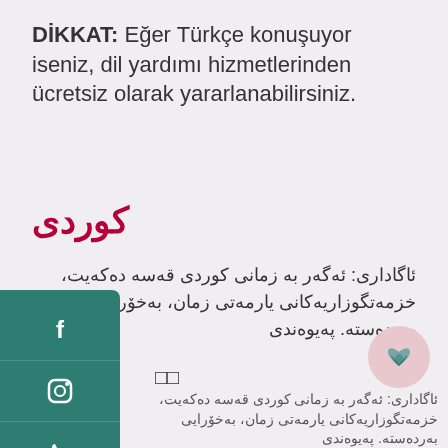DİKKAT: Eğer Türkçe konuşuyor iseniz, dil yardımı hizmetlerinden ücretsiz olarak yararlanabilirsiniz.
كوردى
ئاگاداری: ئەگەر بە زمانی كوردی قەسە دەكەیت، خزمەتگوزاریەكانی یارمەتی زمان، بەخۆرایی بەردەستە. پەیوەندی
□□
ئاگاداری: ئەگەر بە زمانی كوردی قەسە دەكەیت، خزمەتگوزاریەكانی یارمەتی زمان، بەخۆرایی بەردەستە. پەیوەندی